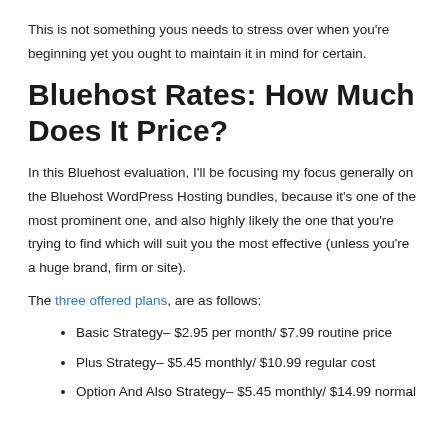This is not something yous needs to stress over when you're beginning yet you ought to maintain it in mind for certain.
Bluehost Rates: How Much Does It Price?
In this Bluehost evaluation, I'll be focusing my focus generally on the Bluehost WordPress Hosting bundles, because it's one of the most prominent one, and also highly likely the one that you're trying to find which will suit you the most effective (unless you're a huge brand, firm or site).
The three offered plans, are as follows:
Basic Strategy– $2.95 per month/ $7.99 routine price
Plus Strategy– $5.45 monthly/ $10.99 regular cost
Option And Also Strategy– $5.45 monthly/ $14.99 normal